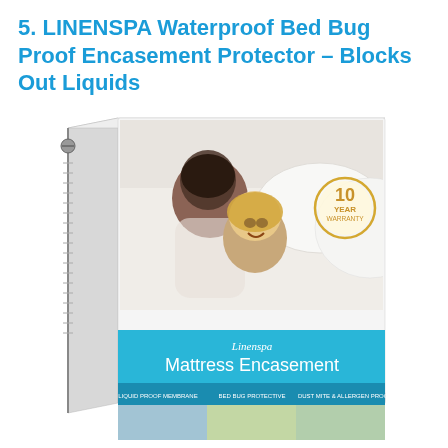5. LINENSPA Waterproof Bed Bug Proof Encasement Protector – Blocks Out Liquids
[Figure (photo): Product photo of LINENSPA Mattress Encasement protector packaging. Shows a white zippered mattress encasement product with packaging featuring a father and young daughter smiling on white bedding, a gold '10 YEAR' warranty badge, a teal/blue bottom banner with 'Linenspa Mattress Encasement' text, and small feature icons at the bottom (liquid proof membrane, bed bug protective, dust mite & allergen proof).]